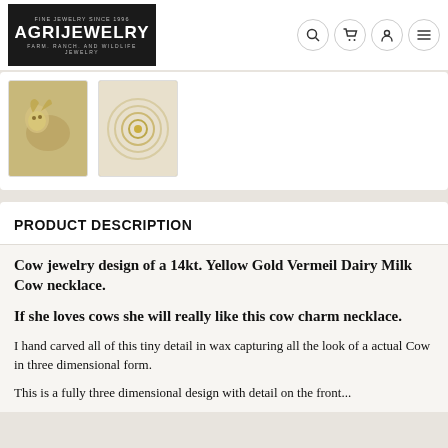AGRIJEWELRY — FINE JEWELRY SINCE 1996 — FARM. RANCH. AND WILDLIFE JEWELRY
[Figure (photo): Thumbnail image of gold dairy cow charm necklace pendant]
[Figure (photo): Thumbnail image of necklace clasp/chain detail with circular loops]
PRODUCT DESCRIPTION
Cow jewelry design of a 14kt. Yellow Gold Vermeil Dairy Milk Cow necklace.
If she loves cows she will really like this cow charm necklace.
I hand carved all of this tiny detail in wax capturing all the look of a actual Cow in three dimensional form.
This is a fully three dimensional design with detail on the front...